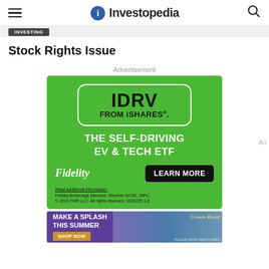Investopedia
Stock Rights Issue
Advertisement
[Figure (screenshot): Fidelity IDRV iShares advertisement on green background: 'IDRV FROM iSHARES. THE SELF-DRIVING EV & TECH ETF' with Fidelity logo and LEARN MORE button]
[Figure (screenshot): Crown Royal purple banner ad: 'MAKE A SPLASH THIS SUMMER SHOP NOW']